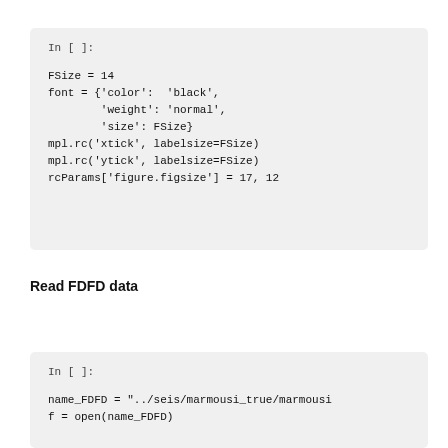In [ ]:
FSize = 14
font = {'color':  'black',
        'weight': 'normal',
        'size': FSize}
mpl.rc('xtick', labelsize=FSize)
mpl.rc('ytick', labelsize=FSize)
rcParams['figure.figsize'] = 17, 12
Read FDFD data
In [ ]:
name_FDFD = "../seis/marmousi_true/marmousi
f = open(name_FDFD)